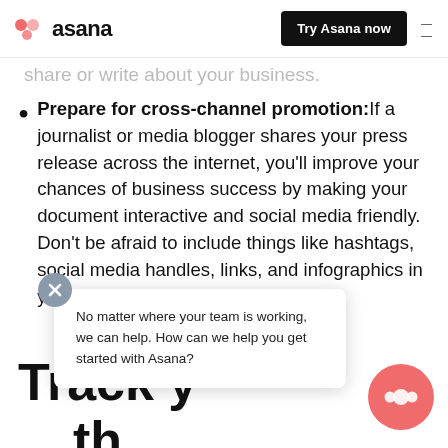asana | Try Asana now
share or write about your business.
Prepare for cross-channel promotion: If a journalist or media blogger shares your press release across the internet, you'll improve your chances of business success by making your document interactive and social media friendly. Don't be afraid to include things like hashtags, social media handles, links, and infographics in your content.
No matter where your team is working, we can help. How can we help you get started with Asana?
Track your work with workflow management